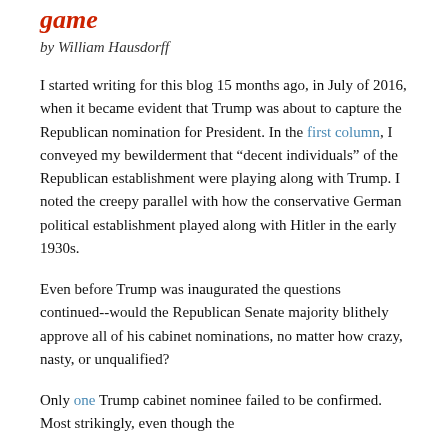game
by William Hausdorff
I started writing for this blog 15 months ago, in July of 2016, when it became evident that Trump was about to capture the Republican nomination for President.  In the first column, I conveyed my bewilderment that “decent individuals” of the Republican establishment were playing along with Trump.  I noted the creepy parallel with how the conservative German political establishment played along with Hitler in the early 1930s.
Even before Trump was inaugurated the questions continued--would the Republican Senate majority blithely approve all of his cabinet nominations, no matter how crazy, nasty, or unqualified?
Only one Trump cabinet nominee failed to be confirmed.  Most strikingly, even though the